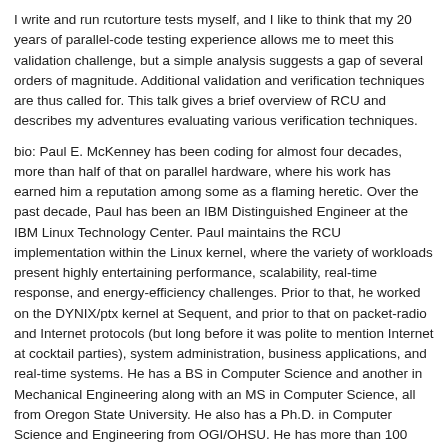I write and run rcutorture tests myself, and I like to think that my 20 years of parallel-code testing experience allows me to meet this validation challenge, but a simple analysis suggests a gap of several orders of magnitude. Additional validation and verification techniques are thus called for. This talk gives a brief overview of RCU and describes my adventures evaluating various verification techniques.
bio: Paul E. McKenney has been coding for almost four decades, more than half of that on parallel hardware, where his work has earned him a reputation among some as a flaming heretic. Over the past decade, Paul has been an IBM Distinguished Engineer at the IBM Linux Technology Center. Paul maintains the RCU implementation within the Linux kernel, where the variety of workloads present highly entertaining performance, scalability, real-time response, and energy-efficiency challenges. Prior to that, he worked on the DYNIX/ptx kernel at Sequent, and prior to that on packet-radio and Internet protocols (but long before it was polite to mention Internet at cocktail parties), system administration, business applications, and real-time systems. He has a BS in Computer Science and another in Mechanical Engineering along with an MS in Computer Science, all from Oregon State University. He also has a Ph.D. in Computer Science and Engineering from OGI/OHSU. He has more than 100 publications and more than 50 patents. His hobbies include what passes for running at his age along with the usual house-wife-and-kids habit.
Share
[Figure (other): Facebook Share button with blue background and 'f Share' label]